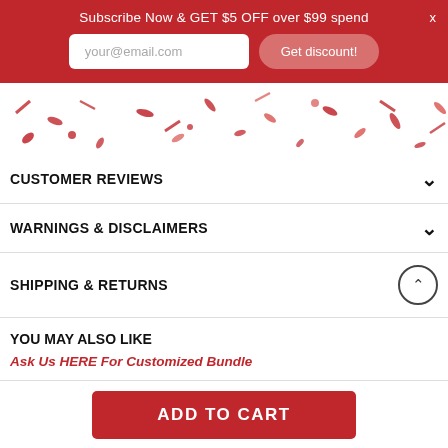Subscribe Now & GET $5 OFF over $99 spend
[Figure (screenshot): Red promotional banner with email subscription input field placeholder 'your@email.com' and 'Get discount!' button, with a close X button in the top right.]
[Figure (illustration): Red and white confetti/petals scattered decoratively over white background area.]
CUSTOMER REVIEWS
WARNINGS & DISCLAIMERS
SHIPPING & RETURNS
YOU MAY ALSO LIKE
Ask Us HERE For Customized Bundle
We can customize better value deals for you. Contact us!.
ADD TO CART